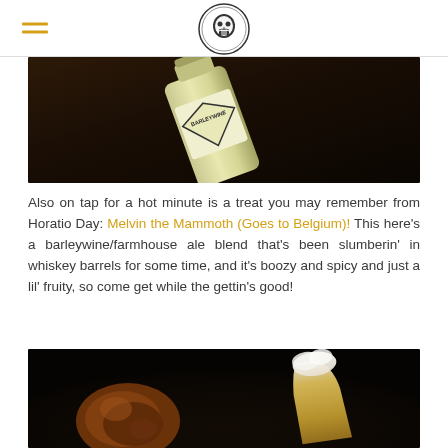[Logo: brewery skull icon, hamburger menu]
[Figure (photo): Close-up photo of a beer bottle with a label reading 'BARLEYWINE' on a dark rustic background]
Also on tap for a hot minute is a treat you may remember from Horatio Day: Melvin the Mammoth (Goes to Belgium)! This here's a barleywine/farmhouse ale blend that's been slumberin' in whiskey barrels for some time, and it's boozy and spicy and just a lil' fruity, so come get while the gettin's good!
[Figure (photo): Dark photo of a pretzel and a glass of beer (golden ale with foam) on a dark background]